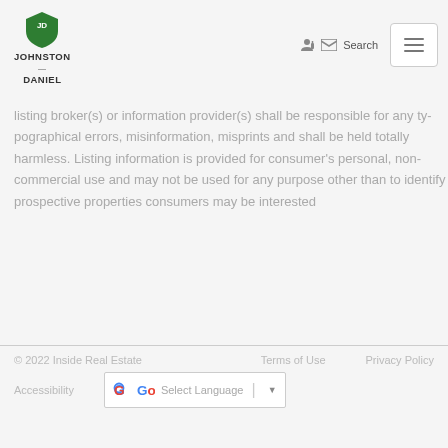[Figure (logo): Johnston Daniel real estate logo with green shield and company name]
listing broker(s) or information provider(s) shall be responsible for any typographical errors, misinformation, misprints and shall be held totally harmless. Listing information is provided for consumer's personal, non-commercial use and may not be used for any purpose other than to identify prospective properties consumers may be interested
© 2022 Inside Real Estate   Terms of Use   Privacy Policy   Accessibility   Select Language
[Figure (other): Google Translate widget with Select Language dropdown]